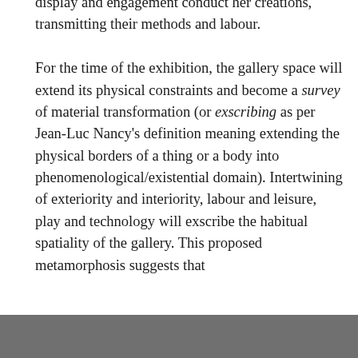display and engagement conduct her creations, transmitting their methods and labour.

For the time of the exhibition, the gallery space will extend its physical constraints and become a survey of material transformation (or exscribing as per Jean-Luc Nancy's definition meaning extending the physical borders of a thing or a body into phenomenological/existential domain). Intertwining of exteriority and interiority, labour and leisure, play and technology will exscribe the habitual spatiality of the gallery. This proposed metamorphosis suggests that